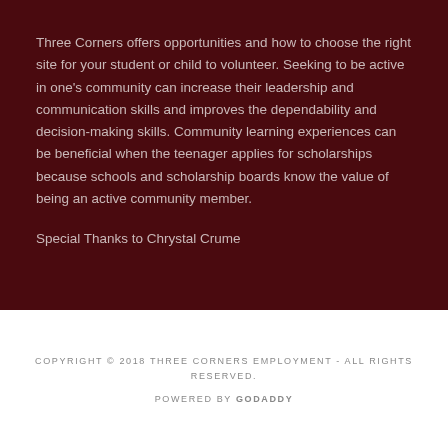Three Corners offers opportunities and how to choose the right site for your student or child to volunteer. Seeking to be active in one's community can increase their leadership and communication skills and improves the dependability and decision-making skills. Community learning experiences can be beneficial when the teenager applies for scholarships because schools and scholarship boards know the value of being an active community member.
Special Thanks to Chrystal Crume
COPYRIGHT © 2018 THREE CORNERS EMPLOYMENT - ALL RIGHTS RESERVED.
POWERED BY GODADDY